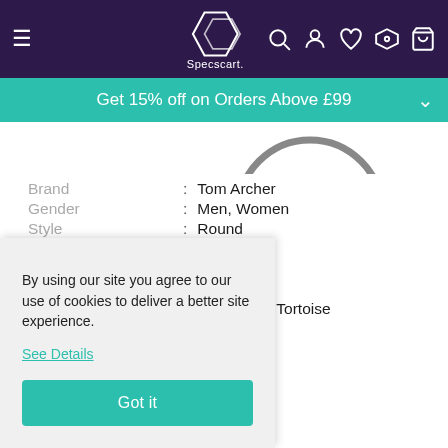Specscart — Navigation header with hamburger menu, logo, search, account, wishlist, VR, and cart icons
Get 15% off on Orders Above £99
[Figure (photo): Partial view of round eyeglasses frame, grey/silver, cropped at top]
| Attribute |  | Value |
| --- | --- | --- |
| Brand | : | Tom Archer |
| Gender | : | Men, Women |
| Style | : | Round |
| Type | : | Full Rim |
| Size/Fit | : | Medium |
| Material | : | Acetate |
| Unique Colour | : | Dusty Blue Tortoise |
ne Tortoise
5 ℹ
By using our site you agree to our use of cookies to deliver a better site experience.
See Details
Got it